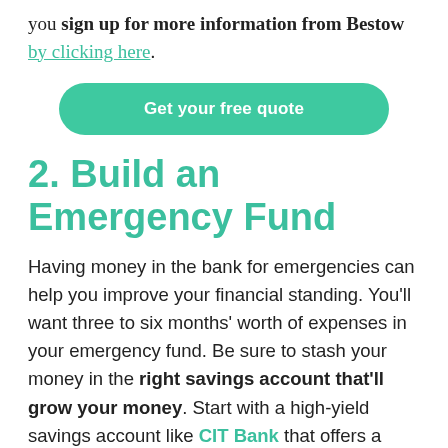you sign up for more information from Bestow by clicking here.
Get your free quote
2. Build an Emergency Fund
Having money in the bank for emergencies can help you improve your financial standing. You'll want three to six months' worth of expenses in your emergency fund. Be sure to stash your money in the right savings account that'll grow your money. Start with a high-yield savings account like CIT Bank that offers a